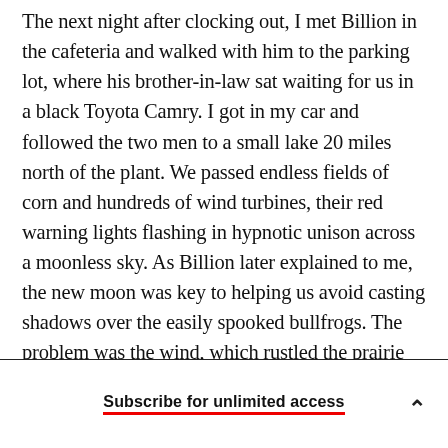The next night after clocking out, I met Billion in the cafeteria and walked with him to the parking lot, where his brother-in-law sat waiting for us in a black Toyota Camry. I got in my car and followed the two men to a small lake 20 miles north of the plant. We passed endless fields of corn and hundreds of wind turbines, their red warning lights flashing in hypnotic unison across a moonless sky. As Billion later explained to me, the new moon was key to helping us avoid casting shadows over the easily spooked bullfrogs. The problem was the wind, which rustled the prairie grass that encircled the lake and made it difficult to hear their calls.
Subscribe for unlimited access